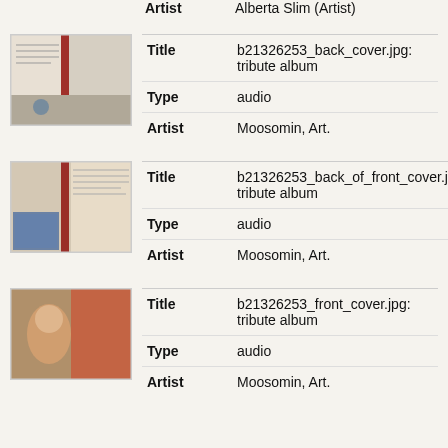Artist: Alberta Slim (Artist)
[Figure (photo): Thumbnail of album back cover image]
Title: b21326253_back_cover.jpg: tribute album
Type: audio
Artist: Moosomin, Art.
[Figure (photo): Thumbnail of album back of front cover image]
Title: b21326253_back_of_front_cover.jpg: tribute album
Type: audio
Artist: Moosomin, Art.
[Figure (photo): Thumbnail of album front cover image]
Title: b21326253_front_cover.jpg: tribute album
Type: audio
Artist: Moosomin, Art.